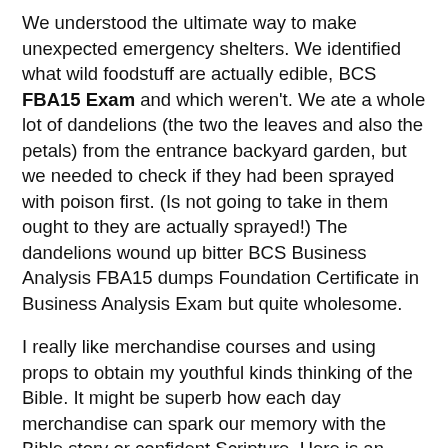We understood the ultimate way to make unexpected emergency shelters. We identified what wild foodstuff are actually edible, BCS FBA15 Exam and which weren't. We ate a whole lot of dandelions (the two the leaves and also the petals) from the entrance backyard garden, but we needed to check if they had been sprayed with poison first. (Is not going to take in them ought to they are actually sprayed!) The dandelions wound up bitter BCS Business Analysis FBA15 dumps Foundation Certificate in Business Analysis Exam but quite wholesome.
I really like merchandise courses and using props to obtain my youthful kinds thinking of the Bible. It might be superb how each day merchandise can spark our memory with the Bible story or confident Scripture. Here is an entertaining Bible college training I feel your children will truly enjoy. I cellphone it "The Main Outstanding Seize Bag" or "BGGB" for quick.This is that which any substitute they are offered...